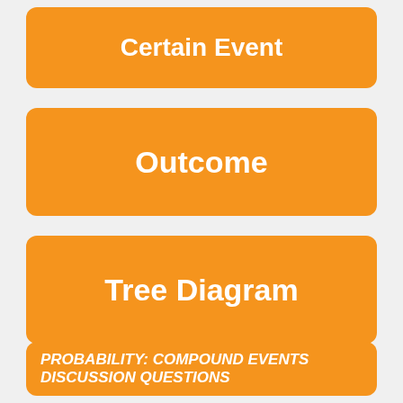Certain Event
Outcome
Tree Diagram
PROBABILITY: COMPOUND EVENTS DISCUSSION QUESTIONS